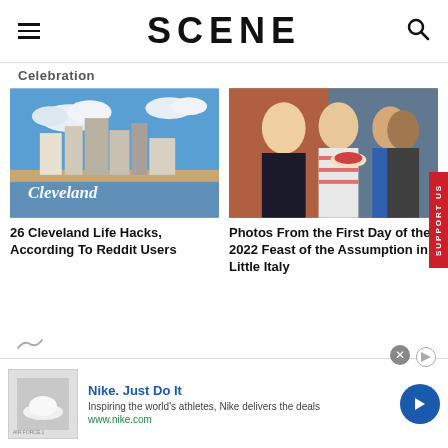SCENE
Celebration
[Figure (photo): Aerial photo of Cleveland skyline with 'Cleveland' sign in foreground]
26 Cleveland Life Hacks, According To Reddit Users
[Figure (photo): People eating at the 2022 Feast of the Assumption in Little Italy]
Photos From the First Day of the 2022 Feast of the Assumption in Little Italy
[Figure (other): Nike advertisement banner: Nike. Just Do It - Inspiring the world's athletes, Nike delivers the deals - www.nike.com]